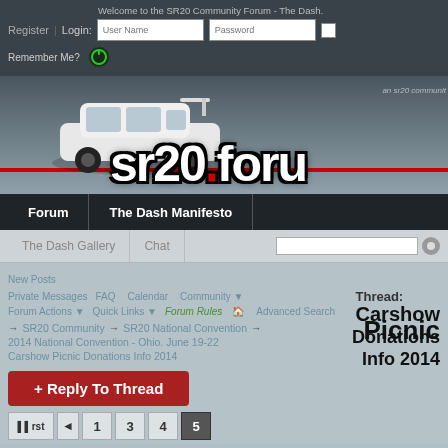Welcome to the SR20 Community Forum - The Dash.
[Figure (screenshot): SR20 Forum banner with white Nissan car and sr20.forum logo text with red dot]
Forum | The Dash Manifesto
The Dash Gallery | Chat
New Posts | Private Messages | FAQ | Calendar | Community | Thread: Carshow
Forum Actions | Quick Links | Forum Rules | Advanced Search
→ SR20 Community → SR20 National Convention → Picnic
2014 National Convention - Ohio. June 19-22 - Carshow Picnic Donations Info 2014
Donations Info 2014
+ Reply To Thread
First ◄ 1 3 4 5